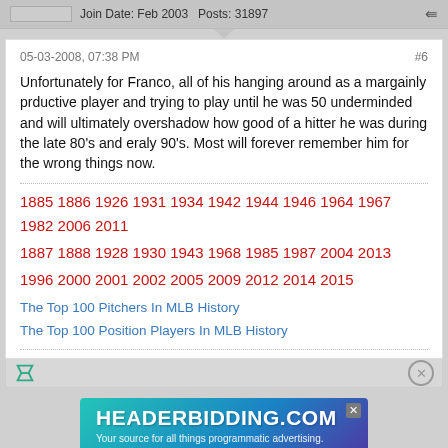Join Date: Feb 2003   Posts: 31897
05-03-2008, 07:38 PM
#6
Unfortunately for Franco, all of his hanging around as a margainly prductive player and trying to play until he was 50 underminded and will ultimately overshadow how good of a hitter he was during the late 80's and eraly 90's. Most will forever remember him for the wrong things now.
1885 1886 1926 1931 1934 1942 1944 1946 1964 1967 1982 2006 2011
1887 1888 1928 1930 1943 1968 1985 1987 2004 2013
1996 2000 2001 2002 2005 2009 2012 2014 2015
The Top 100 Pitchers In MLB History
The Top 100 Position Players In MLB History
[Figure (screenshot): Advertisement banner for HEADERBIDDING.COM - Your source for all things programmatic advertising.]
Join Date: Aug 2007   Posts: 380